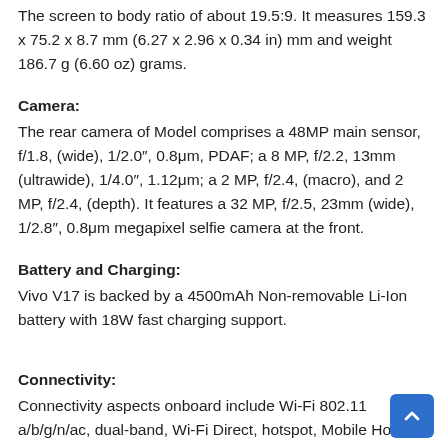The screen to body ratio of about 19.5:9. It measures 159.3 x 75.2 x 8.7 mm (6.27 x 2.96 x 0.34 in) mm and weight 186.7 g (6.60 oz) grams.
Camera:
The rear camera of Model comprises a 48MP main sensor, f/1.8, (wide), 1/2.0″, 0.8μm, PDAF; a 8 MP, f/2.2, 13mm (ultrawide), 1/4.0″, 1.12μm; a 2 MP, f/2.4, (macro), and 2 MP, f/2.4, (depth). It features a 32 MP, f/2.5, 23mm (wide), 1/2.8″, 0.8μm megapixel selfie camera at the front.
Battery and Charging:
Vivo V17 is backed by a 4500mAh Non-removable Li-Ion battery with 18W fast charging support.
Connectivity:
Connectivity aspects onboard include Wi-Fi 802.11 a/b/g/n/ac, dual-band, Wi-Fi Direct, hotspot, Mobile Hotspot, GPS, 2G, 3G and 4G (with support for the band used by some LTE networks in Bangladesh). The phone has associated...